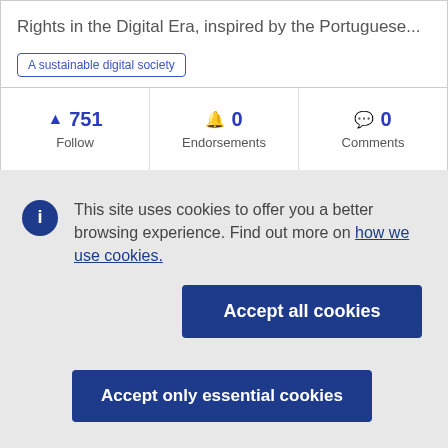Rights in the Digital Era, inspired by the Portuguese...
A sustainable digital society
| Follow | Endorsements | Comments |
| --- | --- | --- |
| 751 | 0 | 0 |
This site uses cookies to offer you a better browsing experience. Find out more on how we use cookies.
Accept all cookies
Accept only essential cookies